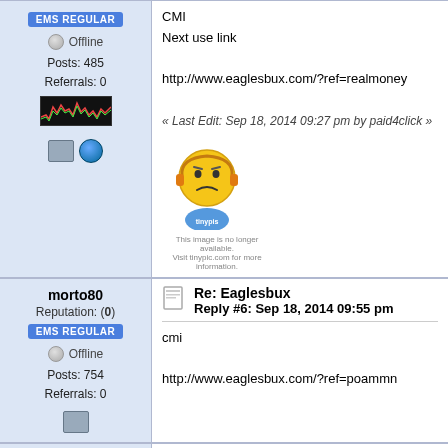EMS REGULAR (badge)
Offline
Posts: 485
Referrals: 0
CMI
Next use link
http://www.eaglesbux.com/?ref=realmoney
« Last Edit: Sep 18, 2014 09:27 pm by paid4click »
[Figure (illustration): Broken image placeholder showing a sad yellow emoji face from tinypic]
morto80
Reputation: (0)
EMS REGULAR
Offline
Posts: 754
Referrals: 0
Re: Eaglesbux
Reply #6: Sep 18, 2014 09:55 pm
cmi
http://www.eaglesbux.com/?ref=poammn
h3ndr4man
Reputation: (+31)
EMS REGULAR
Offline
Gender: ♂
Posts: 789
Re: Eaglesbux
Reply #7: Sep 18, 2014 10:30 pm
cmi under poammn
Next use my link : http://www.eaglesbux.com/?ref=
Thanks You